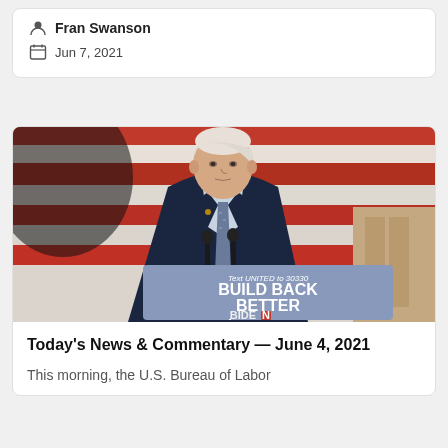Fran Swanson
Jun 7, 2021
[Figure (photo): A person in a dark suit standing at a podium with a 'BUILD BACK BETTER' sign and 'Text UNITED to 30330' text, with an American flag in the background. Biden campaign branding visible.]
Today's News & Commentary — June 4, 2021
This morning, the U.S. Bureau of Labor